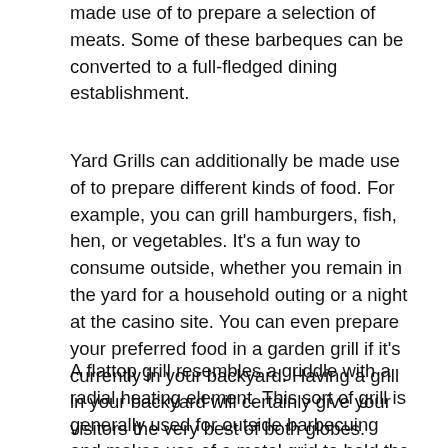made use of to prepare a selection of meats. Some of these barbeques can be converted to a full-fledged dining establishment.
Yard Grills can additionally be made use of to prepare different kinds of food. For example, you can grill hamburgers, fish, hen, or vegetables. It's a fun way to consume outside, whether you remain in the yard for a household outing or a night at the casino site. You can even prepare your preferred food in a garden grill if it's currently in your backyard. Having a grill in your backyard will certainly give your visitors the very best of both globes.
A flattop grill resembles a griddle with a radial heating element. This sort of grill is generally used for outside barbecuing and makes use of a metal grid to hold the meat as well as vegetables. This type of exterior bbq is a fantastic method to enjoy your garden while cooking